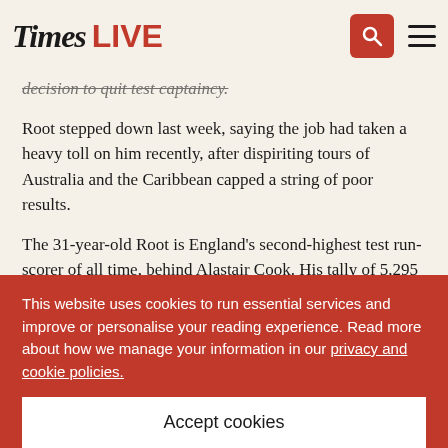Times LIVE
decision to quit test captaincy.
Root stepped down last week, saying the job had taken a heavy toll on him recently, after dispiriting tours of Australia and the Caribbean capped a string of poor results.
The 31-year-old Root is England's second-highest test run-scorer of all time, behind Alastair Cook. His tally of 5,295 runs as skipper is the highest by an England captain. He scored 1,708 test runs in 2021, including six test centuries.
"Now that he has stood down, I fully expect him to
This website uses cookies to run essential services and improve or personalise your reading experience. Read more about how we manage your information in our privacy and cookie policies.
Accept cookies